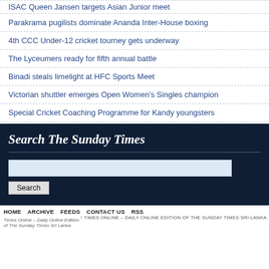ISAC Queen Jansen targets Asian Junior meet
Parakrama pugilists dominate Ananda Inter-House boxing
4th CCC Under-12 cricket tourney gets underway
The Lyceumers ready for fifth annual battle
Binadi steals limelight at HFC Sports Meet
Victorian shuttler emerges Open Women's Singles champion
Special Cricket Coaching Programme for Kandy youngsters
Search The Sunday Times
HOME   ARCHIVE   FEEDS   CONTACT US   RSS
↑ TIMES ONLINE – DAILY ONLINE EDITION OF THE SUNDAY TIMES SRI LANKA
Times Online – Daily Online Edition of The Sunday Times Sri Lanka